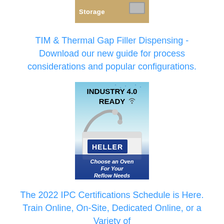[Figure (photo): Partial view of a product image showing 'Storage' text with logo, cropped at top of page]
TIM & Thermal Gap Filler Dispensing - Download our new guide for process considerations and popular configurations.
[Figure (photo): Heller Industries advertisement: 'INDUSTRY 4.0 READY' banner at top with robotic arm graphic, Heller logo on machine, and text 'Choose an Oven For Your Reflow Needs' at bottom]
The 2022 IPC Certifications Schedule is Here. Train Online, On-Site, Dedicated Online, or a Variety of